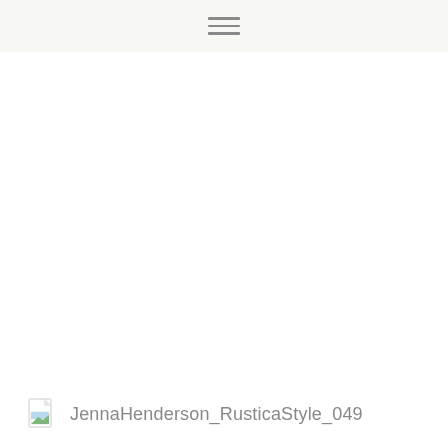[Figure (other): Broken image placeholder with filename label: JennaHenderson_RusticaStyle_049]